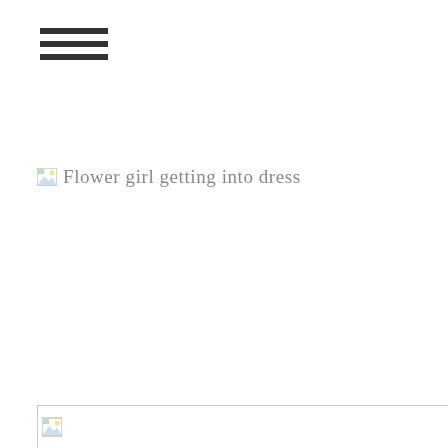[Figure (other): Hamburger menu icon with three horizontal lines]
[Figure (photo): Broken image placeholder with alt text: Flower girl getting into dress]
[Figure (photo): Broken image placeholder at bottom of page, partially visible]